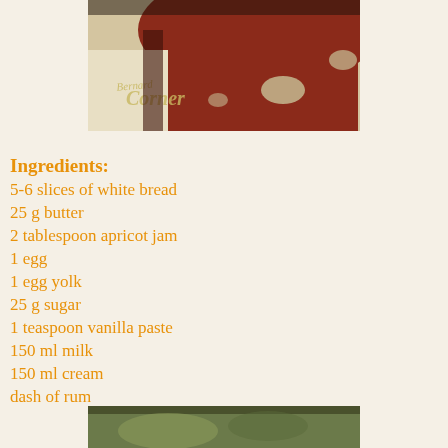[Figure (photo): Close-up photo of a red ceramic bowl or cup with cream/beige polka dots. Partial text watermark reading 'Corner' visible on the surface beneath it.]
Ingredients:
5-6 slices of white bread
25 g butter
2 tablespoon apricot jam
1 egg
1 egg yolk
25 g sugar
1 teaspoon vanilla paste
150 ml milk
150 ml cream
dash of rum
[Figure (photo): Partial view of another photo at the bottom of the page, partially cut off.]